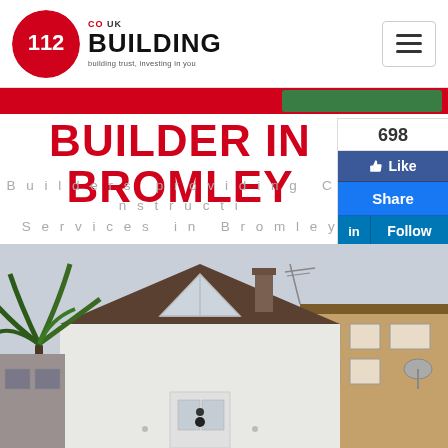[Figure (logo): 112 Building co.uk logo with red circle and building text]
BUILDER IN BROMLEY
Builders providing Construction Services in Bromley
[Figure (infographic): Social media widget showing 698 Facebook likes, Like button, Share button, LinkedIn Follow button with 832 followers]
[Figure (photo): Photo of a white rendered house with triangular window feature in gable, with palm tree on the left and terraced houses on the right]